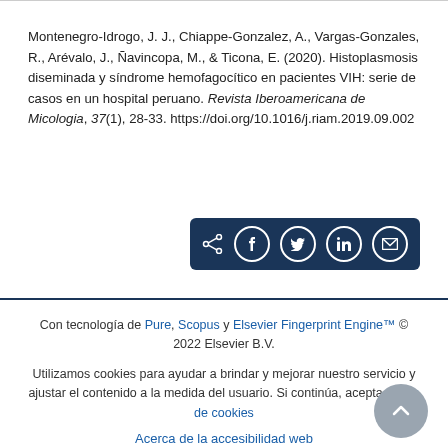Montenegro-Idrogo, J. J., Chiappe-Gonzalez, A., Vargas-Gonzales, R., Arévalo, J., Ñavincopa, M., & Ticona, E. (2020). Histoplasmosis diseminada y síndrome hemofagocítico en pacientes VIH: serie de casos en un hospital peruano. Revista Iberoamericana de Micologia, 37(1), 28-33. https://doi.org/10.1016/j.riam.2019.09.002
[Figure (other): Social share bar with share, Facebook, Twitter, LinkedIn, and email icons on dark blue background]
Con tecnología de Pure, Scopus y Elsevier Fingerprint Engine™ © 2022 Elsevier B.V.
Utilizamos cookies para ayudar a brindar y mejorar nuestro servicio y ajustar el contenido a la medida del usuario. Si continúa, acepta el uso de cookies
Acerca de la accesibilidad web